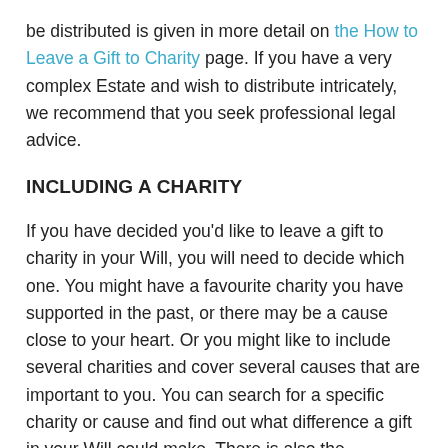be distributed is given in more detail on the How to Leave a Gift to Charity page. If you have a very complex Estate and wish to distribute intricately, we recommend that you seek professional legal advice.
INCLUDING A CHARITY
If you have decided you'd like to leave a gift to charity in your Will, you will need to decide which one. You might have a favourite charity you have supported in the past, or there may be a cause close to your heart. Or you might like to include several charities and cover several causes that are important to you. You can search for a specific charity or cause and find out what difference a gift in your Will could make. There is also the opportunity to take the What Kind of Legend are You quiz to understand the kind of mark you may consider making on the world.